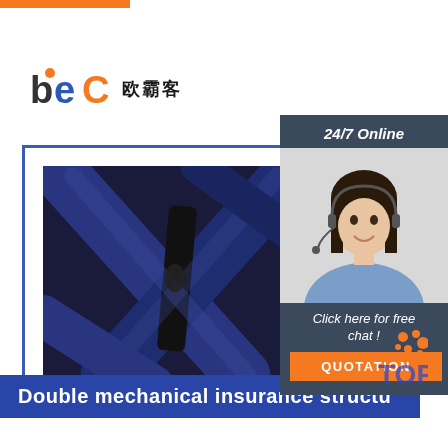[Figure (logo): BEC company logo with orange 'b', blue 'e', orange 'C' and Chinese characters 欧霸客]
[Figure (photo): Customer service agent woman with headset smiling, with '24/7 Online' header and 'Click here for free chat! QUOTATION' button panel]
[Figure (photo): Close-up photo of crossed mechanical scissor lift structure straps in dark blue/navy color inside a blue-bordered frame]
Double mechanical insurance structure